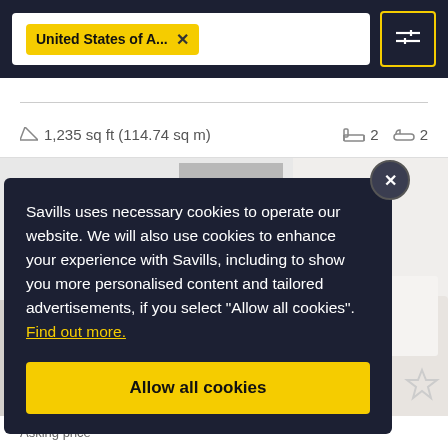[Figure (screenshot): Savills property search interface top bar with 'United States of A...' filter tag and filter/settings button]
1,235 sq ft (114.74 sq m)
2 bedrooms  2 bathrooms
[Figure (photo): Interior room photo showing modern minimalist space with white furniture and decor]
Savills uses necessary cookies to operate our website. We will also use cookies to enhance your experience with Savills, including to show you more personalised content and tailored advertisements, if you select “Allow all cookies”. Find out more.
Allow all cookies
Asking price